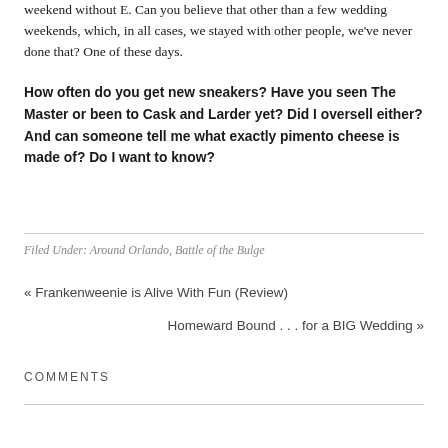weekend without E. Can you believe that other than a few wedding weekends, which, in all cases, we stayed with other people, we've never done that? One of these days.
How often do you get new sneakers? Have you seen The Master or been to Cask and Larder yet? Did I oversell either? And can someone tell me what exactly pimento cheese is made of? Do I want to know?
Filed Under: Around Orlando, Battle of the Bulge
« Frankenweenie is Alive With Fun (Review)
Homeward Bound . . . for a BIG Wedding »
COMMENTS